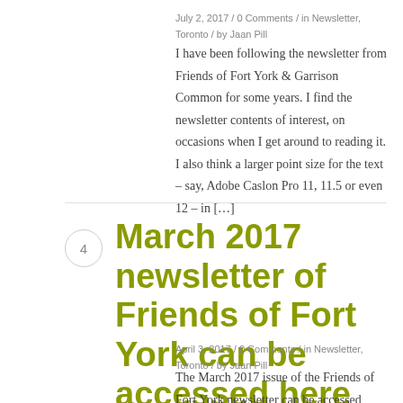July 2, 2017 / 0 Comments / in Newsletter, Toronto / by Jaan Pill
I have been following the newsletter from Friends of Fort York & Garrison Common for some years. I find the newsletter contents of interest, on occasions when I get around to reading it. I also think a larger point size for the text – say, Adobe Caslon Pro 11, 11.5 or even 12 – in […]
March 2017 newsletter of Friends of Fort York can be accessed here
April 3, 2017 / 0 Comments / in Newsletter, Toronto / by Jaan Pill
The March 2017 issue of the Friends of Fort York newsletter can be accessed here. The opening